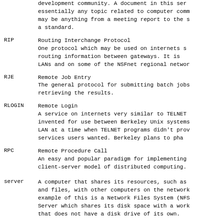development community. A document in this series may cover essentially any topic related to computer communications, and may be anything from a meeting report to the specification of a standard.
RIP - Routing Interchange Protocol. One protocol which may be used on internets sharing routing information between gateways. It is used on many LANs and on some of the NSFnet regional networks.
RJE - Remote Job Entry. The general protocol for submitting batch jobs and retrieving the results.
RLOGIN - Remote Login. A service on internets very similar to TELNET. It was invented for use between Berkeley Unix systems on the same LAN at a time when TELNET programs didn't provide all the services users wanted. Berkeley plans to phase it out.
RPC - Remote Procedure Call. An easy and popular paradigm for implementing the client-server model of distributed computing.
server - A computer that shares its resources, such as printers and files, with other computers on the network. An example of this is a Network Files System (NFS) File Server which shares its disk space with a workstation that does not have a disk drive of its own.